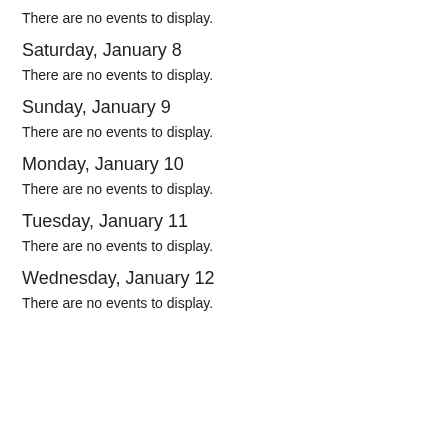There are no events to display.
Saturday, January 8
There are no events to display.
Sunday, January 9
There are no events to display.
Monday, January 10
There are no events to display.
Tuesday, January 11
There are no events to display.
Wednesday, January 12
There are no events to display.